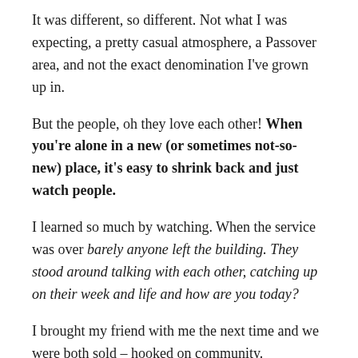It was different, so different. Not what I was expecting, a pretty casual atmosphere, a Passover area, and not the exact denomination I've grown up in.
But the people, oh they love each other! When you're alone in a new (or sometimes not-so-new) place, it's easy to shrink back and just watch people.
I learned so much by watching. When the service was over barely anyone left the building. They stood around talking with each other, catching up on their week and life and how are you today?
I brought my friend with me the next time and we were both sold – hooked on community.
Then, on my 2nd Sunday there, they announced that